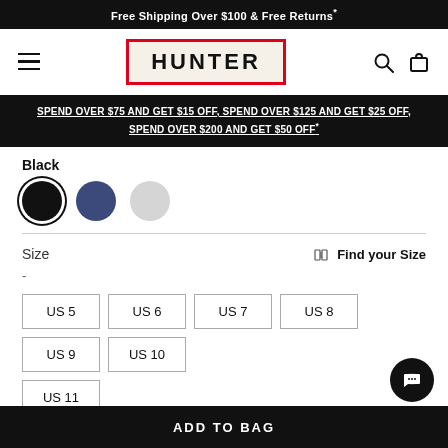Free Shipping Over $100 & Free Returns*
[Figure (logo): Hunter brand logo with red border on cream background, hamburger menu icon on left, search and bag icons on right]
SPEND OVER $75 AND GET $15 OFF, SPEND OVER $125 AND GET $25 OFF, SPEND OVER $200 AND GET $50 OFF*
Black
[Figure (illustration): Three color swatches: black (selected with ring), navy blue, light gray]
Size
-
Find your Size
US 5
US 6
US 7
US 8
US 9
US 10
US 11
ADD TO BAG